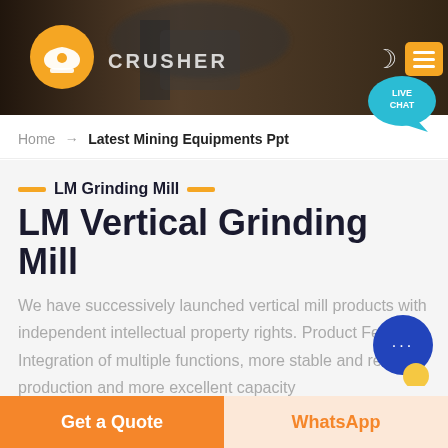[Figure (screenshot): Website header with dark mining/industrial background, orange circular logo with hard hat icon, CRUSHER text, moon icon and orange menu button on right]
Home → Latest Mining Equipments Ppt
LM Grinding Mill
LM Vertical Grinding Mill
We have successively launched vertical mill products with independent intellectual property rights. Product Features: Integration of multiple functions, more stable and reliable production and more excellent capacity
Get a Quote
WhatsApp